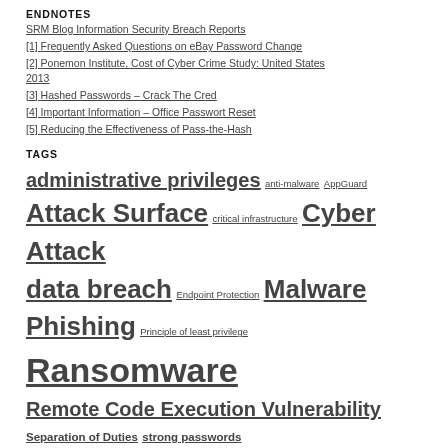ENDNOTES
SRM Blog Information Security Breach Reports
[1] Frequently Asked Questions on eBay Password Change
[2] Ponemon Institute, Cost of Cyber Crime Study: United States 2013
[3] Hashed Passwords – Crack The Cred
[4] Important Information – Office Passwort Reset
[5] Reducing the Effectiveness of Pass-the-Hash
TAGS
administrative privileges anti-malware AppGuard Attack Surface critical infrastructure Cyber Attack data breach Endpoint Protection Malware Phishing Principle of least privilege Ransomware Remote Code Execution Vulnerability Separation of Duties strong passwords Two factor Authentication UAC